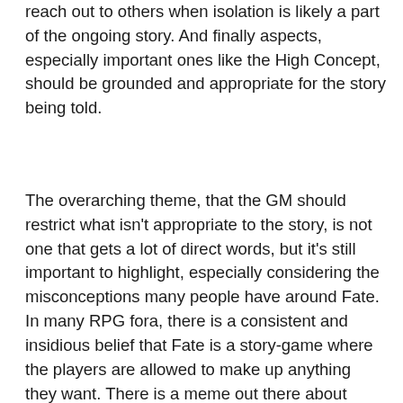reach out to others when isolation is likely a part of the ongoing story. And finally aspects, especially important ones like the High Concept, should be grounded and appropriate for the story being told.
The overarching theme, that the GM should restrict what isn't appropriate to the story, is not one that gets a lot of direct words, but it's still important to highlight, especially considering the misconceptions many people have around Fate. In many RPG fora, there is a consistent and insidious belief that Fate is a story-game where the players are allowed to make up anything they want. There is a meme out there about different role-playing game rulesets called “Can I do the Thing”. The entry for Fate reads: “That depends, can you bullshit the GM into believing that one of your vaguely-worded aspects supports you doing the thing?” If players have that attitude about Fate, it's no wonder many people see it as a difficult choice